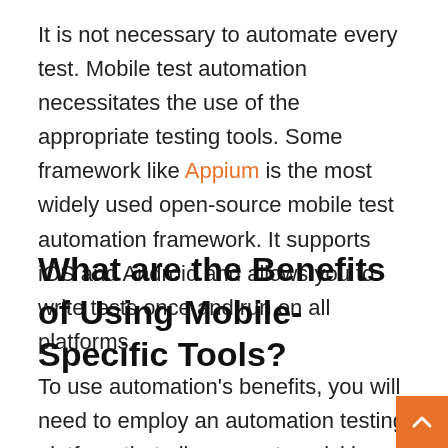It is not necessary to automate every test. Mobile test automation necessitates the use of the appropriate testing tools. Some framework like Appium is the most widely used open-source mobile test automation framework. It supports iOS and Android and allows you to write tests once and run on all platforms.
What are the Benefits of Using Mobile-Specific Tools?
To use automation's benefits, you will need to employ an automation testing platform that allows you to quickly and easily automate your mobile testing. Af